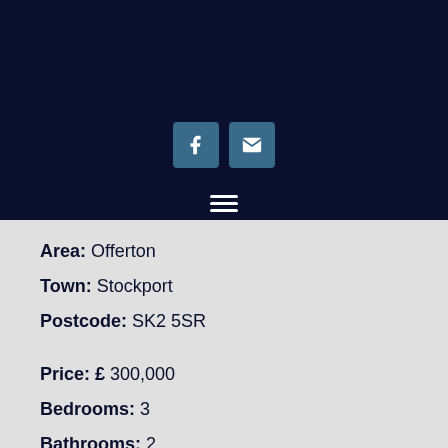[Figure (screenshot): Dark navy header with Facebook and email icon buttons, and a hamburger menu icon below them]
Area: Offerton
Town: Stockport
Postcode: SK2 5SR
Price: £ 300,000
Bedrooms: 3
Bathrooms: 2
Receptions: 2